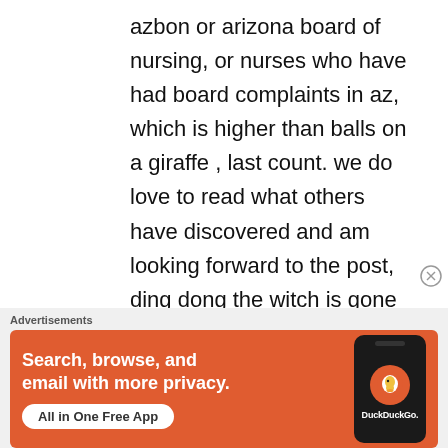azbon or arizona board of nursing, or nurses who have had board complaints in az, which is higher than balls on a giraffe , last count. we do love to read what others have discovered and am looking forward to the post, ding dong the witch is gone !!! (that pretty much covers it ! ) . hey maybe a different board employee name ,
[Figure (other): DuckDuckGo advertisement banner: orange background with text 'Search, browse, and email with more privacy. All in One Free App' and a phone mockup showing the DuckDuckGo app icon and brand name.]